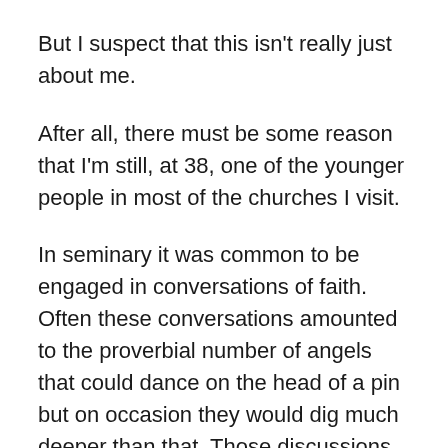But I suspect that this isn't really just about me.
After all, there must be some reason that I'm still, at 38, one of the younger people in most of the churches I visit.
In seminary it was common to be engaged in conversations of faith. Often these conversations amounted to the proverbial number of angels that could dance on the head of a pin but on occasion they would dig much deeper than that. Those discussions were challenging, interesting, and sometimes disturbing enough to be faith shaping.
I've rarely encountered these types on discussions